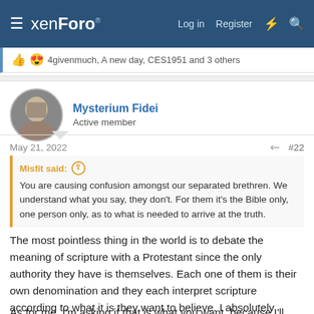xenForo  Log in  Register
4givenmuch, A new day, CES1951 and 3 others
Mysterium Fidei
Active member
May 21, 2022  #22
Misfit said: You are causing confusion amongst our separated brethren. We understand what you say, they don't. For them it's the Bible only, one person only, as to what is needed to arrive at the truth.
The most pointless thing in the world is to debate the meaning of scripture with a Protestant since the only authority they have is themselves. Each one of them is their own denomination and they each interpret scripture according to what it is they want to believe. I absolutely refuse to do it.
As for me, I'm asking if that is what you want, because I'll answer the...